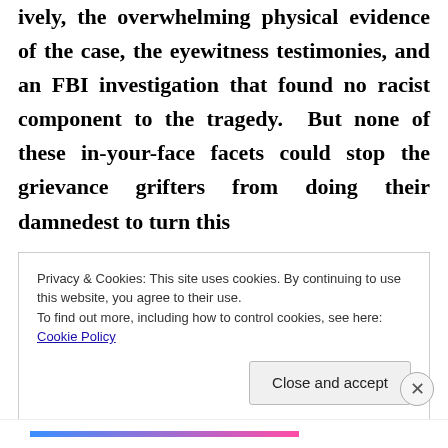ively, the overwhelming physical evidence of the case, the eyewitness testimonies, and an FBI investigation that found no racist component to the tragedy. But none of these in-your-face facets could stop the grievance grifters from doing their damnedest to turn this
Privacy & Cookies: This site uses cookies. By continuing to use this website, you agree to their use.
To find out more, including how to control cookies, see here: Cookie Policy

Close and accept